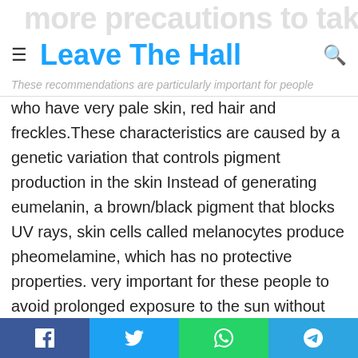more precautions to take — Leave The Hall
These recommendations are particularly important for people who have very pale skin, red hair and freckles. These characteristics are caused by a genetic variation that controls pigment production in the skin Instead of generating eumelanin, a brown/black pigment that blocks UV rays, skin cells called melanocytes produce pheomelamine, which has no protective properties. very important for these people to avoid prolonged exposure to the sun without protection.
Recent research shows that red-haired people have an increased risk of melanoma, even in the absence of UV radiation. noted that he genetic variation leading to the synthesis of red pigment causes increased DNA damage to skin cells and an increased incidence of invasive melanoma,
Facebook Twitter WhatsApp Telegram